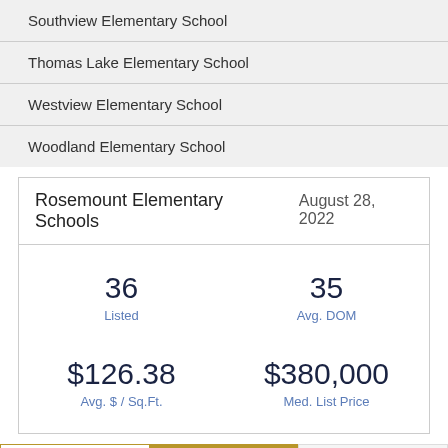Southview Elementary School
Thomas Lake Elementary School
Westview Elementary School
Woodland Elementary School
Rosemount Elementary Schools  August 28, 2022
| Metric | Value |
| --- | --- |
| Listed | 36 |
| Avg. DOM | 35 |
| Avg. $ / Sq.Ft. | $126.38 |
| Med. List Price | $380,000 |
Alerts!
Refine
Map View